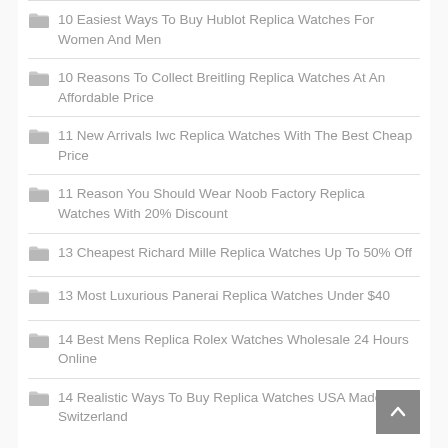10 Easiest Ways To Buy Hublot Replica Watches For Women And Men
10 Reasons To Collect Breitling Replica Watches At An Affordable Price
11 New Arrivals Iwc Replica Watches With The Best Cheap Price
11 Reason You Should Wear Noob Factory Replica Watches With 20% Discount
13 Cheapest Richard Mille Replica Watches Up To 50% Off
13 Most Luxurious Panerai Replica Watches Under $40
14 Best Mens Replica Rolex Watches Wholesale 24 Hours Online
14 Realistic Ways To Buy Replica Watches USA Made In Switzerland